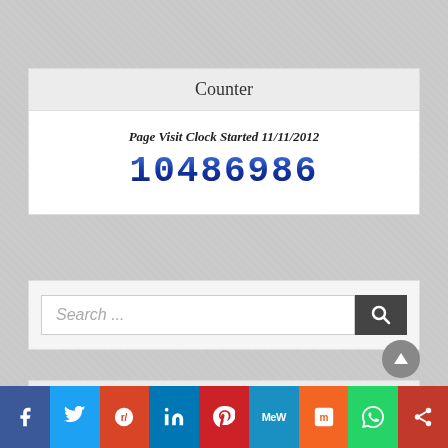Counter
Page Visit Clock Started 11/11/2012
10486986
[Figure (other): Search bar with text input and search button]
Categories
Advertisers
Amenia
Beekman
[Figure (other): Social media sharing bar with icons for Facebook, Twitter, Reddit, LinkedIn, Pinterest, MeWe, Mix, WhatsApp, and share]